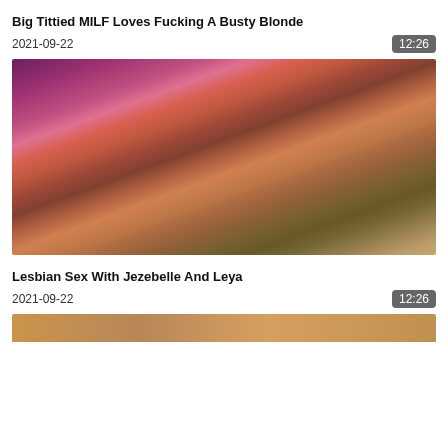Big Tittied MILF Loves Fucking A Busty Blonde
2021-09-22
12:26
[Figure (photo): Video thumbnail showing adult content]
Lesbian Sex With Jezebelle And Leya
2021-09-22
12:26
[Figure (photo): Partial video thumbnail at bottom of page]